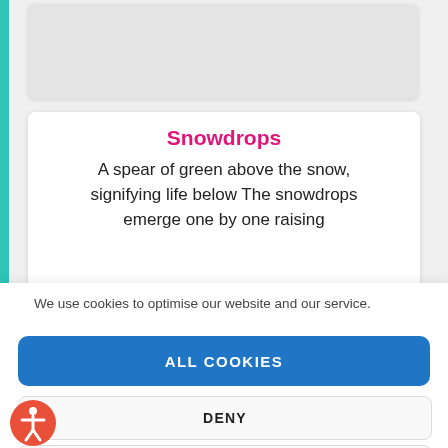[Figure (screenshot): Top portion of a website showing a gray empty card at top and a white card with 'Snowdrops' title in pink/magenta and partial poem text below, with a teal left border strip.]
Snowdrops
A spear of green above the snow, signifying life below The snowdrops emerge one by one raising
We use cookies to optimise our website and our service.
ALL COOKIES
DENY
VIEW PREFERENCES